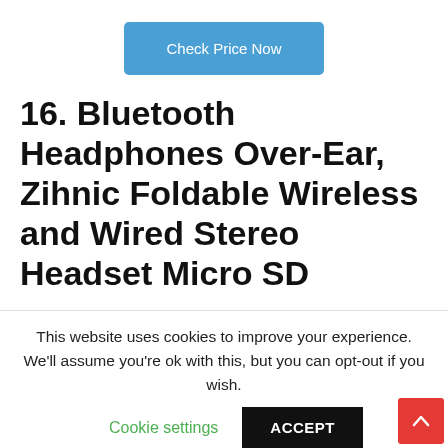[Figure (other): Blue 'Check Price Now' button]
16. Bluetooth Headphones Over-Ear, Zihnic Foldable Wireless and Wired Stereo Headset Micro SD
[Figure (photo): Photo of red and black Bluetooth headphones with a Zihnic branded carrying case]
This website uses cookies to improve your experience. We'll assume you're ok with this, but you can opt-out if you wish.
Cookie settings   ACCEPT